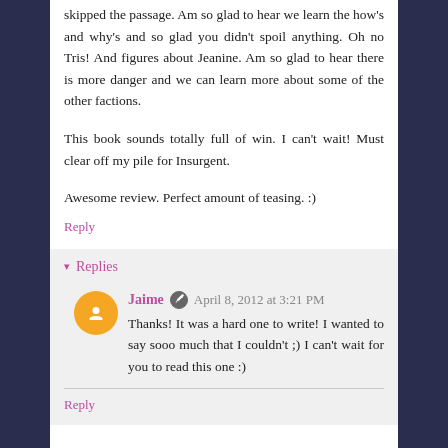skipped the passage. Am so glad to hear we learn the how's and why's and so glad you didn't spoil anything. Oh no Tris! And figures about Jeanine. Am so glad to hear there is more danger and we can learn more about some of the other factions.
This book sounds totally full of win. I can't wait! Must clear off my pile for Insurgent.
Awesome review. Perfect amount of teasing. :)
Reply
▾ Replies
Jaime  April 8, 2012 at 3:21 PM
Thanks! It was a hard one to write! I wanted to say sooo much that I couldn't ;) I can't wait for you to read this one :)
Reply